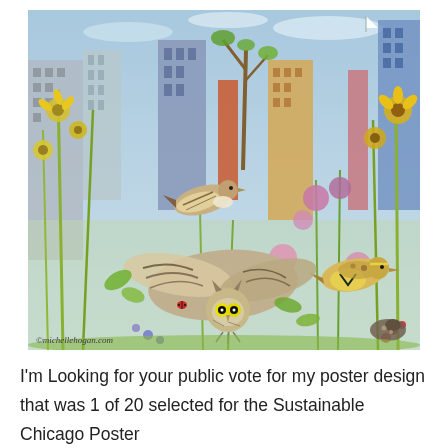[Figure (illustration): Colorful watercolor illustration showing birds (an owl in flight, a sparrow, a meadowlark) among urban wildflowers and city skyscrapers in the background. Artist copyright reads: ©michellehogan.com]
I'm Looking for your public vote for my poster design that was 1 of 20 selected for the Sustainable Chicago Poster